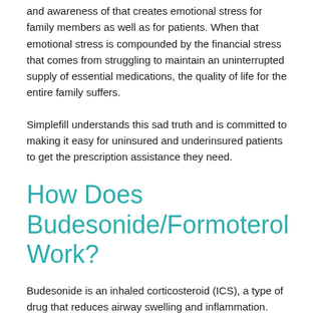and awareness of that creates emotional stress for family members as well as for patients. When that emotional stress is compounded by the financial stress that comes from struggling to maintain an uninterrupted supply of essential medications, the quality of life for the entire family suffers.
Simplefill understands this sad truth and is committed to making it easy for uninsured and underinsured patients to get the prescription assistance they need.
How Does Budesonide/Formoterol Work?
Budesonide is an inhaled corticosteroid (ICS), a type of drug that reduces airway swelling and inflammation. Formoterol is a long-acting beta agonist, or LABA